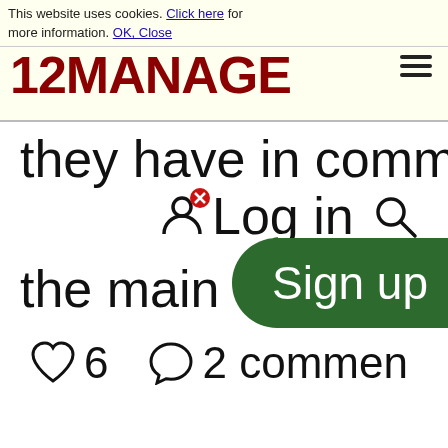This website uses cookies. Click here for more information. OK, Close
[Figure (logo): 12MANAGE logo in dark red bold text with hamburger menu icon]
they have in common
Log in
the main differences
♡ 6   ♡ 2 comments
Sign up